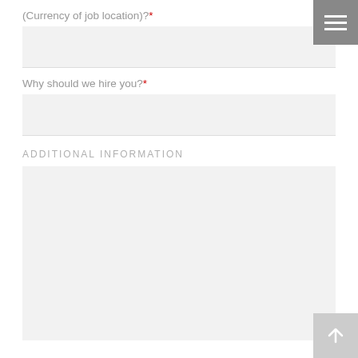(Currency of job location)?*
Why should we hire you?*
ADDITIONAL INFORMATION